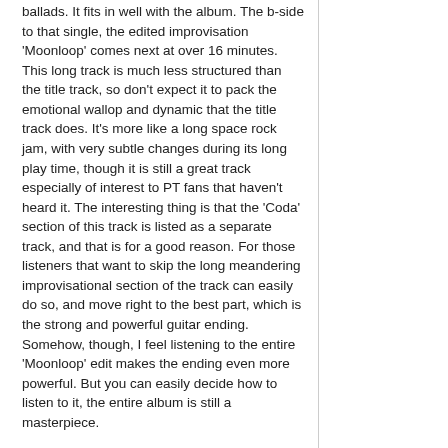ballads. It fits in well with the album. The b-side to that single, the edited improvisation 'Moonloop' comes next at over 16 minutes. This long track is much less structured than the title track, so don't expect it to pack the emotional wallop and dynamic that the title track does. It's more like a long space rock jam, with very subtle changes during its long play time, though it is still a great track especially of interest to PT fans that haven't heard it. The interesting thing is that the 'Coda' section of this track is listed as a separate track, and that is for a good reason. For those listeners that want to skip the long meandering improvisational section of the track can easily do so, and move right to the best part, which is the strong and powerful guitar ending. Somehow, though, I feel listening to the entire 'Moonloop' edit makes the ending even more powerful. But you can easily decide how to listen to it, the entire album is still a masterpiece.
This is one of the best ways to